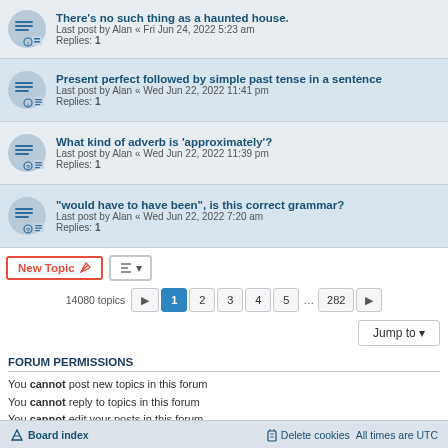There's no such thing as a haunted house. Last post by Alan « Fri Jun 24, 2022 5:23 am Replies: 1
Present perfect followed by simple past tense in a sentence. Last post by Alan « Wed Jun 22, 2022 11:41 pm Replies: 1
What kind of adverb is 'approximately'? Last post by Alan « Wed Jun 22, 2022 11:39 pm Replies: 1
"would have to have been", is this correct grammar? Last post by Alan « Wed Jun 22, 2022 7:20 am Replies: 1
New Topic  |  Sort  | 14080 topics  1  2  3  4  5  ...  282  >
Jump to
FORUM PERMISSIONS
You cannot post new topics in this forum
You cannot reply to topics in this forum
You cannot edit your posts in this forum
You cannot delete your posts in this forum
You cannot post attachments in this forum
Board index   Delete cookies   All times are UTC